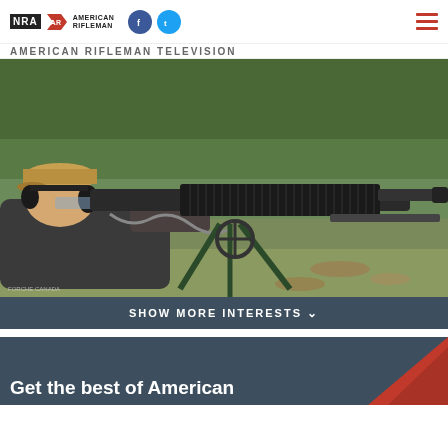NRA American Rifleman — with Facebook and Twitter social icons and hamburger menu
AMERICAN RIFLEMAN TELEVISION
[Figure (photo): Person wearing a tan cap and ear protection lying prone behind a large machine gun on a tripod mount, aiming downrange on a grassy shooting range. Photo credit: FORCHE CANADA]
SHOW MORE INTERESTS
Get the best of American